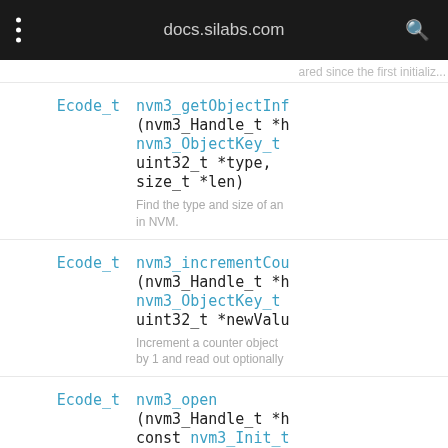docs.silabs.com
ared since the first initializ...
Ecode_t nvm3_getObjectInf (nvm3_Handle_t *h nvm3_ObjectKey_t uint32_t *type, size_t *len) Find the type and size of an in NVM.
Ecode_t nvm3_incrementCou (nvm3_Handle_t *h nvm3_ObjectKey_t uint32_t *newValu Increment a counter object by 1 and read out optionally
Ecode_t nvm3_open (nvm3_Handle_t *h const nvm3_Init_t Open a NVM3 driver instan...